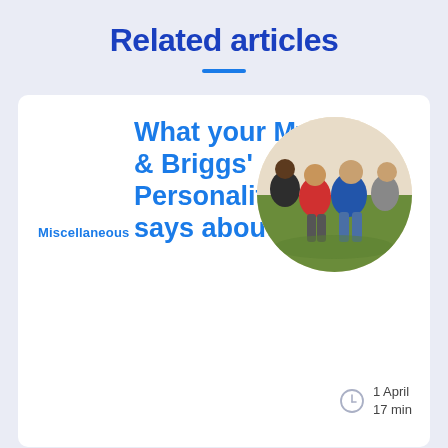Related articles
Miscellaneous
What your Myers & Briggs' Personality Type says about you
[Figure (photo): Group of four young people sitting on grass, laughing and smiling together, shown in a circular crop]
1 April
17 min